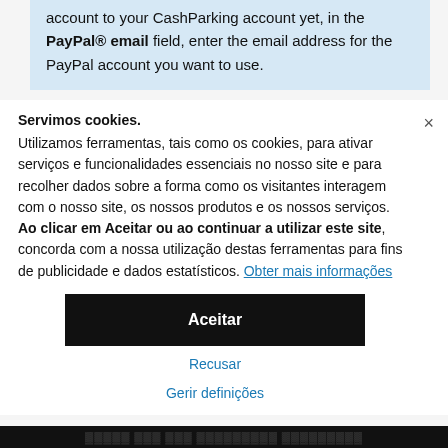account to your CashParking account yet, in the PayPal® email field, enter the email address for the PayPal account you want to use.
Servimos cookies. Utilizamos ferramentas, tais como os cookies, para ativar serviços e funcionalidades essenciais no nosso site e para recolher dados sobre a forma como os visitantes interagem com o nosso site, os nossos produtos e os nossos serviços. Ao clicar em Aceitar ou ao continuar a utilizar este site, concorda com a nossa utilização destas ferramentas para fins de publicidade e dados estatísticos. Obter mais informações
Aceitar
Recusar
Gerir definições